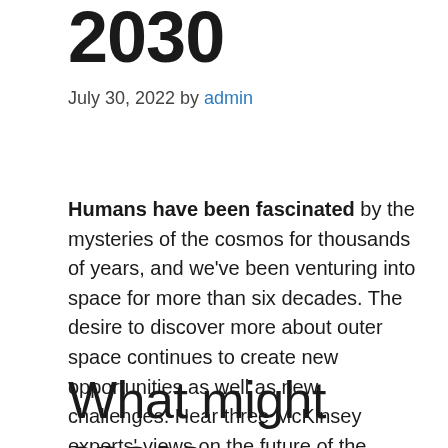2030
July 30, 2022 by admin
Humans have been fascinated by the mysteries of the cosmos for thousands of years, and we've been venturing into space for more than six decades. The desire to discover more about outer space continues to create new opportunities as well as new challenges. Hear three McKinsey experts' views on the future of the space sector.
What might space travel look like?